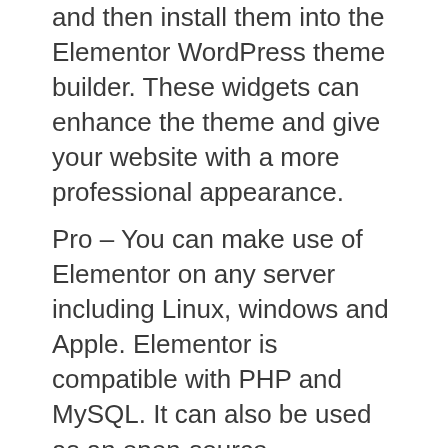and then install them into the Elementor WordPress theme builder. These widgets can enhance the theme and give your website with a more professional appearance.
Pro – You can make use of Elementor on any server including Linux, windows and Apple. Elementor is compatible with PHP and MySQL. It can also be used as an open-source framework. Many developers are enthused by Elementor due to its open source nature and speed of operation. Because it's free you can use as many third party libraries as you want. If you own websites that are identical to yours, you'll be able to convert your sites to Elementor